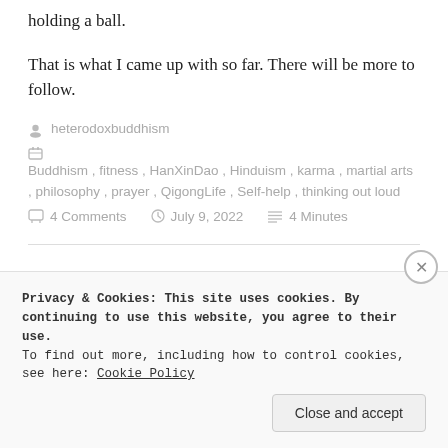holding a ball.
That is what I came up with so far. There will be more to follow.
heterodoxbuddhism
Buddhism , fitness , HanXinDao , Hinduism , karma , martial arts , philosophy , prayer , QigongLife , Self-help , thinking out loud
4 Comments   July 9, 2022   4 Minutes
Privacy & Cookies: This site uses cookies. By continuing to use this website, you agree to their use.
To find out more, including how to control cookies, see here: Cookie Policy
Close and accept